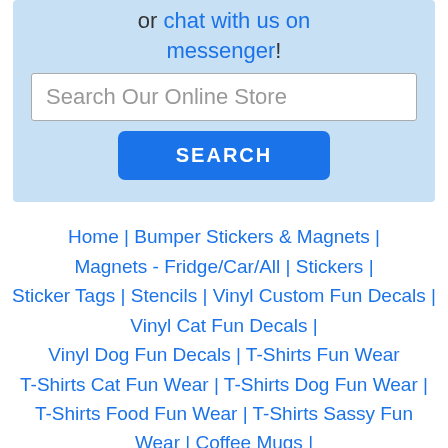or chat with us on messenger!
[Figure (screenshot): Search Our Online Store input field with a SEARCH button below it, on a light blue background]
Home | Bumper Stickers & Magnets | Magnets - Fridge/Car/All | Stickers | Sticker Tags | Stencils | Vinyl Custom Fun Decals | Vinyl Cat Fun Decals | Vinyl Dog Fun Decals | T-Shirts Fun Wear T-Shirts Cat Fun Wear | T-Shirts Dog Fun Wear | T-Shirts Food Fun Wear | T-Shirts Sassy Fun Wear | Coffee Mugs | Seconds & Off-Cuts | Crafting Supplies | Variety Custom Food Smaller & Multi